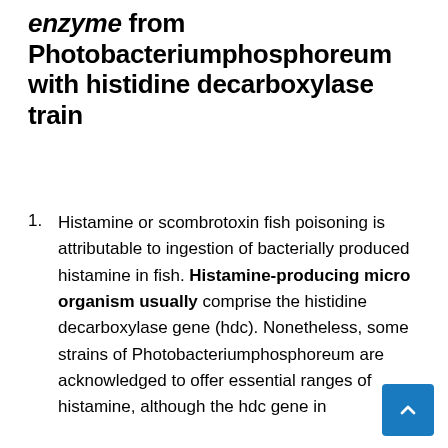enzyme from Photobacteriumphosphoreum with histidine decarboxylase train
Histamine or scombrotoxin fish poisoning is attributable to ingestion of bacterially produced histamine in fish. Histamine-producing micro organism usually comprise the histidine decarboxylase gene (hdc). Nonetheless, some strains of Photobacteriumphosphoreum are acknowledged to offer essential ranges of histamine, although the hdc gene in